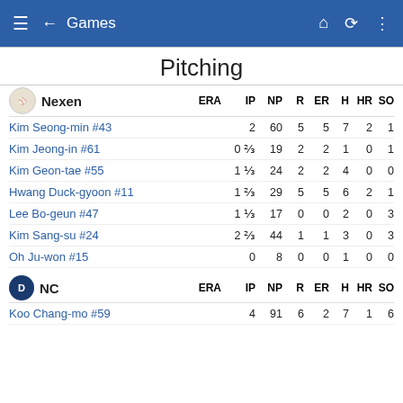Games
Pitching
| Nexen | ERA | IP | NP | R | ER | H | HR | SO |
| --- | --- | --- | --- | --- | --- | --- | --- | --- |
| Kim Seong-min #43 |  | 2 | 60 | 5 | 5 | 7 | 2 | 1 |
| Kim Jeong-in #61 |  | 0 ⅔ | 19 | 2 | 2 | 1 | 0 | 1 |
| Kim Geon-tae #55 |  | 1 ⅓ | 24 | 2 | 2 | 4 | 0 | 0 |
| Hwang Duck-gyoon #11 |  | 1 ⅔ | 29 | 5 | 5 | 6 | 2 | 1 |
| Lee Bo-geun #47 |  | 1 ⅓ | 17 | 0 | 0 | 2 | 0 | 3 |
| Kim Sang-su #24 |  | 2 ⅔ | 44 | 1 | 1 | 3 | 0 | 3 |
| Oh Ju-won #15 |  | 0 | 8 | 0 | 0 | 1 | 0 | 0 |
| NC | ERA | IP | NP | R | ER | H | HR | SO |
| --- | --- | --- | --- | --- | --- | --- | --- | --- |
| Koo Chang-mo #59 |  | 4 | 91 | 6 | 2 | 7 | 1 | 6 |